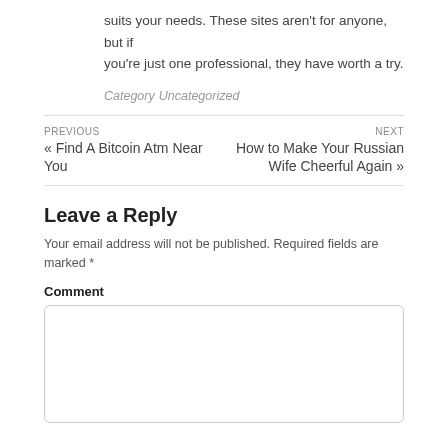suits your needs. These sites aren't for anyone, but if you're just one professional, they have worth a try.
Category  Uncategorized
PREVIOUS
« Find A Bitcoin Atm Near You
NEXT
How to Make Your Russian Wife Cheerful Again »
Leave a Reply
Your email address will not be published. Required fields are marked *
Comment